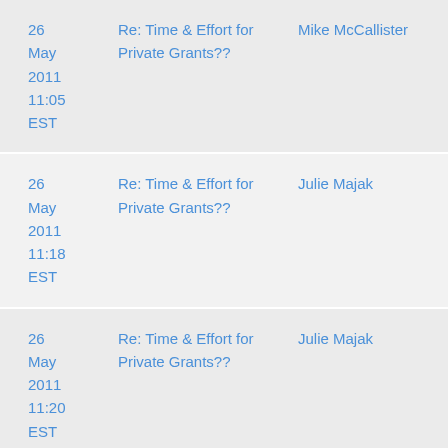| Date | Subject | From |
| --- | --- | --- |
| 26 May 2011 11:05 EST | Re: Time & Effort for Private Grants?? | Mike McCallister |
| 26 May 2011 11:18 EST | Re: Time & Effort for Private Grants?? | Julie Majak |
| 26 May 2011 11:20 EST | Re: Time & Effort for Private Grants?? | Julie Majak |